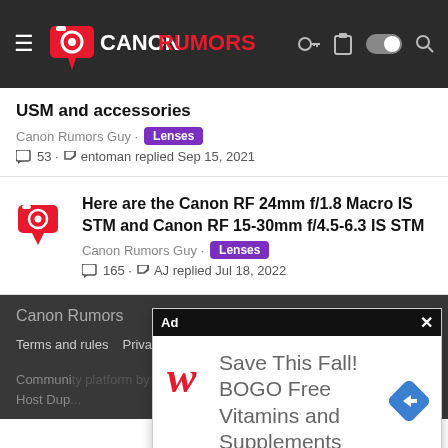Canon Rumors
USM and accessories
Canon Rumors Guy · Lenses
💬 53 · ↩ entoman replied Sep 15, 2021
Here are the Canon RF 24mm f/1.8 Macro IS STM and Canon RF 15-30mm f/4.5-6.3 IS STM
Canon Rumors Guy · Lenses
💬 165 · ↩ AJ replied Jul 18, 2022
Canon Rumors
Terms and rules  Privacy policy  Help  Home
Community platform by XenForo... add-ons by... style and Host Dup...
[Figure (screenshot): Advertisement overlay: Save This Fall! BOGO Free Vitamins and Supplements with Walgreens logo and navigation arrow icon]